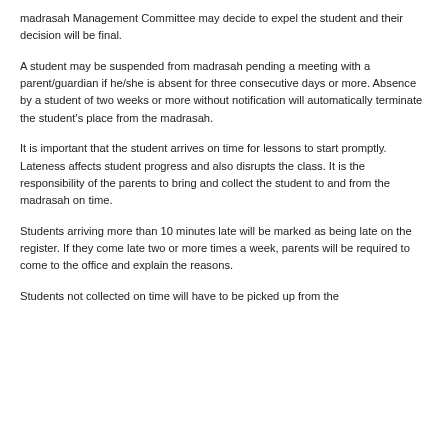madrasah Management Committee may decide to expel the student and their decision will be final.
A student may be suspended from madrasah pending a meeting with a parent/guardian if he/she is absent for three consecutive days or more. Absence by a student of two weeks or more without notification will automatically terminate the student’s place from the madrasah.
It is important that the student arrives on time for lessons to start promptly. Lateness affects student progress and also disrupts the class. It is the responsibility of the parents to bring and collect the student to and from the madrasah on time.
Students arriving more than 10 minutes late will be marked as being late on the register. If they come late two or more times a week, parents will be required to come to the office and explain the reasons.
Students not collected on time will have to be picked up from the